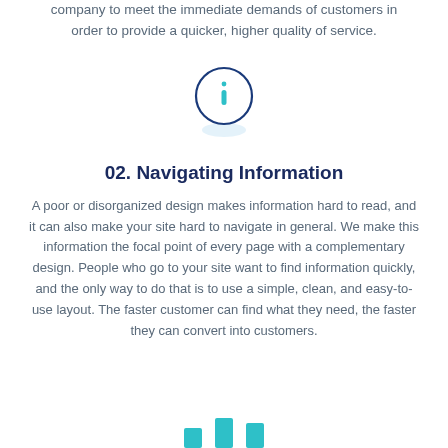company to meet the immediate demands of customers in order to provide a quicker, higher quality of service.
[Figure (illustration): Circle icon with lowercase letter 'i' in teal/cyan color, dark blue circle border, with a soft light blue shadow beneath]
02. Navigating Information
A poor or disorganized design makes information hard to read, and it can also make your site hard to navigate in general. We make this information the focal point of every page with a complementary design. People who go to your site want to find information quickly, and the only way to do that is to use a simple, clean, and easy-to-use layout. The faster customer can find what they need, the faster they can convert into customers.
[Figure (illustration): Three rectangular bar chart-like icons in teal/cyan color at the bottom of the page, partially visible]